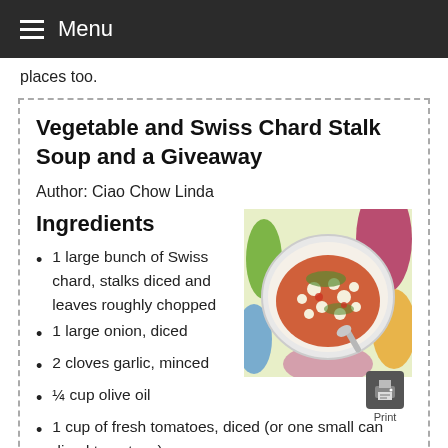Menu
places too.
Vegetable and Swiss Chard Stalk Soup and a Giveaway
Author: Ciao Chow Linda
[Figure (photo): Bowl of vegetable and Swiss chard stalk soup with beans and tomatoes on a colorful patterned surface]
Ingredients
1 large bunch of Swiss chard, stalks diced and leaves roughly chopped
1 large onion, diced
2 cloves garlic, minced
¼ cup olive oil
1 cup of fresh tomatoes, diced (or one small can diced tomatoes)